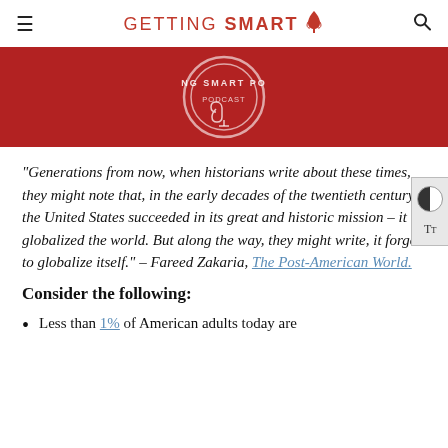GETTING SMART
[Figure (logo): Getting Smart Podcast circular logo on red banner background]
“Generations from now, when historians write about these times, they might note that, in the early decades of the twentieth century, the United States succeeded in its great and historic mission – it globalized the world. But along the way, they might write, it forgot to globalize itself.” – Fareed Zakaria, The Post-American World.
Consider the following:
Less than 1% of American adults today are